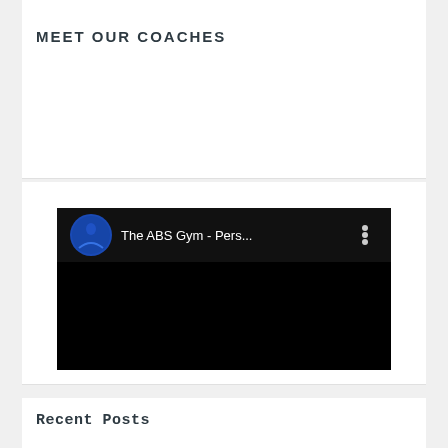MEET OUR COACHES
[Figure (screenshot): Embedded video thumbnail showing The ABS Gym YouTube channel with dark/black background. The video player header shows a blue circular logo on the left, the channel name 'The ABS Gym - Pers...' in white text, and a three-dot menu icon on the right. The rest of the video area is black.]
Recent Posts